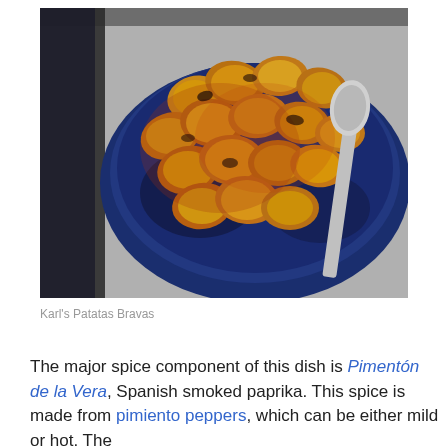[Figure (photo): A blue ceramic bowl filled with patatas bravas (roasted/fried potato pieces coated in red paprika sauce), with a metal spoon resting on the right side, placed on a white plate with blue striped rim. Background shows a patterned tablecloth.]
Karl's Patatas Bravas
The major spice component of this dish is Pimentón de la Vera, Spanish smoked paprika. This spice is made from pimiento peppers, which can be either mild or hot. The